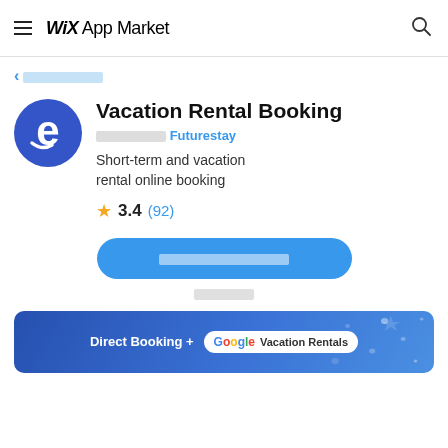WiX App Market
< [breadcrumb link in Hebrew/placeholder]
Vacation Rental Booking
[developer label placeholder] Futurestay
Short-term and vacation rental online booking
3.4 (92)
[Add button placeholder text]
[trial text placeholder]
[Figure (screenshot): Banner showing 'Direct Booking + Google Vacation Rentals' on a blue gradient background with decorative elements]